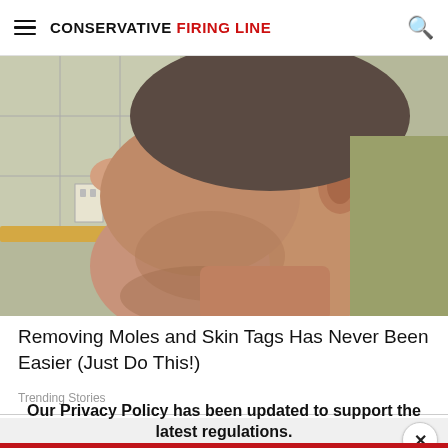CONSERVATIVE FIRING LINE
[Figure (photo): Close-up side profile photo of a man's neck and lower face showing skin, taken indoors with a kitchen/bathroom background visible]
Removing Moles and Skin Tags Has Never Been Easier (Just Do This!)
Trending Stories
Our Privacy Policy has been updated to support the latest regulations. Click to learn more.